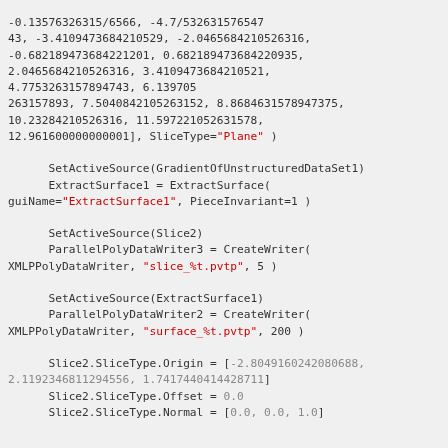Code block showing Python/ParaView script with slice configuration, writer creation, and checkpoint loop